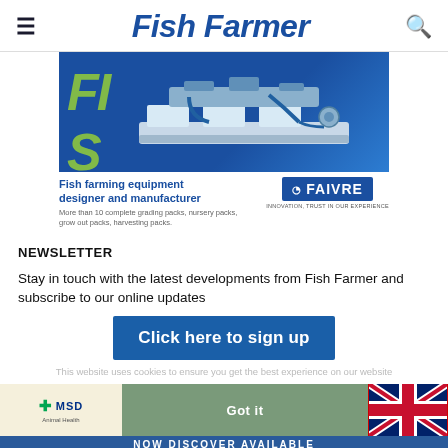Fish Farmer
[Figure (infographic): Fish farming equipment advertisement banner showing industrial fish grading/processing machinery on blue background with green 'FI' letters. Below: headline 'Fish farming equipment designer and manufacturer', subtext 'More than 10 complete grading packs, nursery packs, grow out packs, harvesting packs.' with FAIVRE logo.]
NEWSLETTER
Stay in touch with the latest developments from Fish Farmer and subscribe to our online updates
[Figure (infographic): Blue button reading 'Click here to sign up']
This website uses cookies to ensure you get the best experience on our website
[Figure (infographic): Bottom advertisement bar with MSD Animal Health logo on cream background, 'Got it' button in olive green, and UK flag on red background]